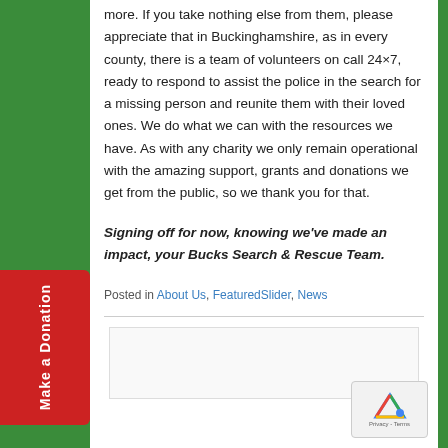more.  If you take nothing else from them, please appreciate that in Buckinghamshire, as in every county, there is a team of volunteers on call 24×7, ready to respond to assist the police in the search for a missing person and reunite them with their loved ones. We do what we can with the resources we have.  As with any charity we only remain operational with the amazing support, grants and donations we get from the public, so we thank you for that.
Signing off for now, knowing we've made an impact, your Bucks Search & Rescue Team.
Posted in About Us, FeaturedSlider, News